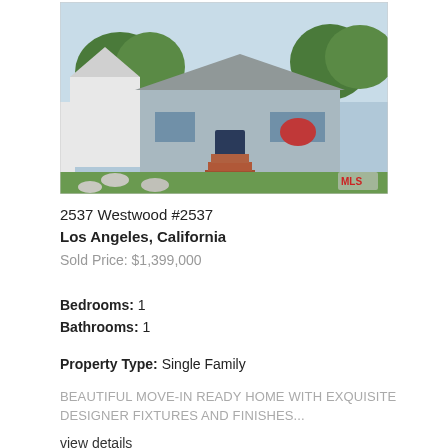[Figure (photo): Exterior photo of a single-story gray house with red brick steps, green lawn, and MLS watermark in lower right corner]
2537 Westwood #2537
Los Angeles, California
Sold Price: $1,399,000
Bedrooms: 1
Bathrooms: 1
Property Type: Single Family
BEAUTIFUL MOVE-IN READY HOME WITH EXQUISITE DESIGNER FIXTURES AND FINISHES...
view details
[Figure (photo): Partial view of a second property listing photo (cropped at bottom of page)]